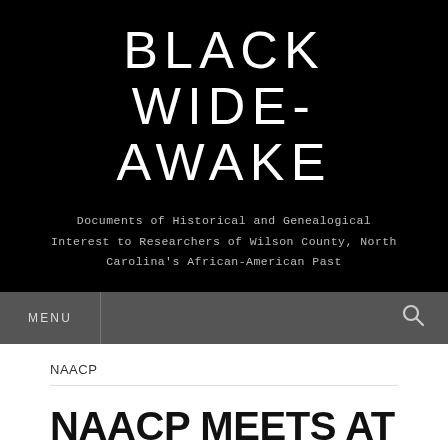BLACK WIDE-AWAKE
Documents of Historical and Genealogical Interest to Researchers of Wilson County, North Carolina's African-American Past
MENU
NAACP
NAACP MEETS AT PINEY GROVE.